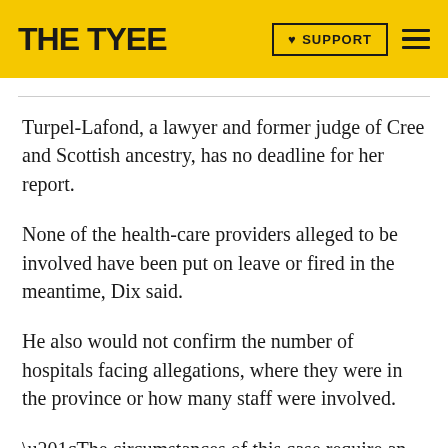THE TYEE | SUPPORT
Turpel-Lafond, a lawyer and former judge of Cree and Scottish ancestry, has no deadline for her report.
None of the health-care providers alleged to be involved have been put on leave or fired in the meantime, Dix said.
He also would not confirm the number of hospitals facing allegations, where they were in the province or how many staff were involved.
“The circumstances of this case require an